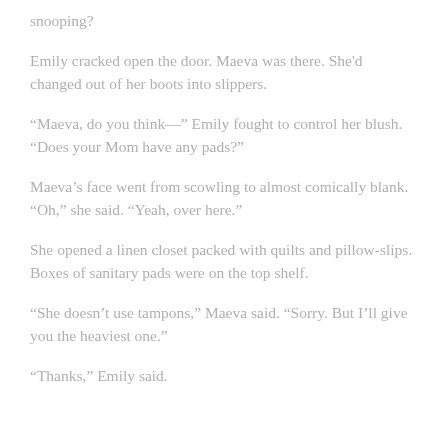snooping?
Emily cracked open the door. Maeva was there. She'd changed out of her boots into slippers.
“Maeva, do you think—” Emily fought to control her blush. “Does your Mom have any pads?”
Maeva’s face went from scowling to almost comically blank. “Oh,” she said. “Yeah, over here.”
She opened a linen closet packed with quilts and pillow-slips. Boxes of sanitary pads were on the top shelf.
“She doesn’t use tampons,” Maeva said. “Sorry. But I’ll give you the heaviest one.”
“Thanks,” Emily said.